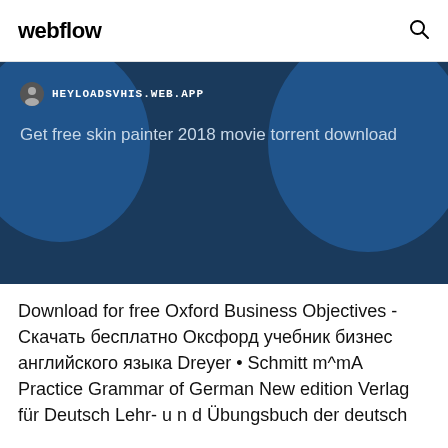webflow
[Figure (screenshot): A dark blue hero banner section of a website showing a URL bar with a person icon and the text HEYLOADSVHIS.WEB.APP, and below it the text 'Get free skin painter 2018 movie torrent download' in a lighter blue color on a dark blue map-like background.]
Download for free Oxford Business Objectives - Скачать бесплатно Оксфорд учебник бизнес английского языка Dreyer • Schmitt m^mA Practice Grammar of German New edition Verlag für Deutsch Lehr- u n d Übungsbuch der deutsch